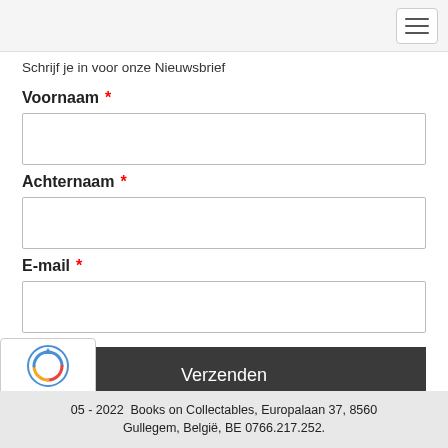Schrijf je in voor onze Nieuwsbrief
Voornaam *
Achternaam *
E-mail *
Verzenden
[Figure (other): reCAPTCHA badge with logo and Privacy - Terms text]
05 - 2022  Books on Collectables, Europalaan 37, 8560 Gullegem, België, BE 0766.217.252.